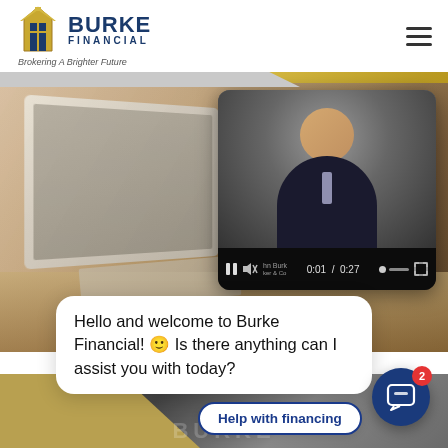[Figure (logo): Burke Financial logo with building icon and tagline 'Brokering A Brighter Future']
[Figure (screenshot): Website screenshot showing Burke Financial webpage with laptop image background, embedded video player showing a man in suit, chat widget with welcome message and financing button]
Hello and welcome to Burke Financial! 🙂 Is there anything can I assist you with today?
Help with financing